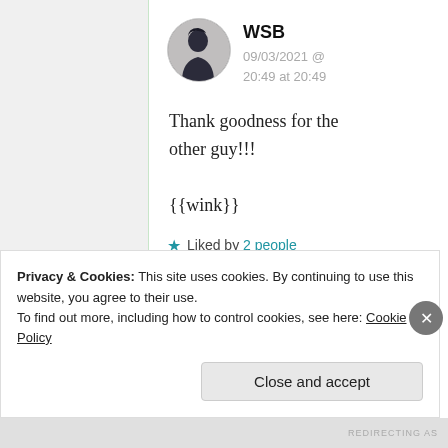[Figure (illustration): Silhouette profile avatar of a person in dark tones, circular shape]
WSB
09/03/2021 @ 20:49 at 20:49
Thank goodness for the other guy!!!

{{wink}}
★ Liked by 2 people
Privacy & Cookies: This site uses cookies. By continuing to use this website, you agree to their use.
To find out more, including how to control cookies, see here: Cookie Policy
Close and accept